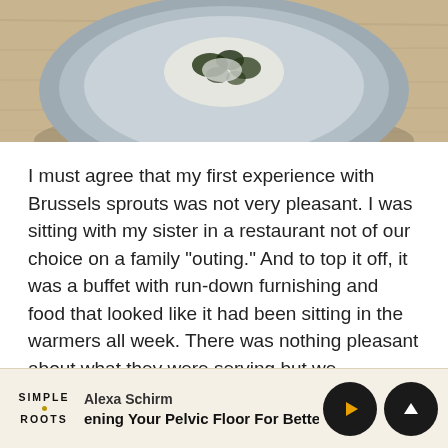[Figure (photo): Top portion of a photo showing a gray plate with food on a wooden surface]
I must agree that my first experience with Brussels sprouts was not very pleasant. I was sitting with my sister in a restaurant not of our choice on a family "outing." And to top it off, it was a buffet with run-down furnishing and food that looked like it had been sitting in the warmers all week. There was nothing pleasant about what they were serving but we proceeded. Did I mention, not by choice.
My sister is someone who will eat anything or at least
Alexa Schirm  ening Your Pelvic Floor For Better S